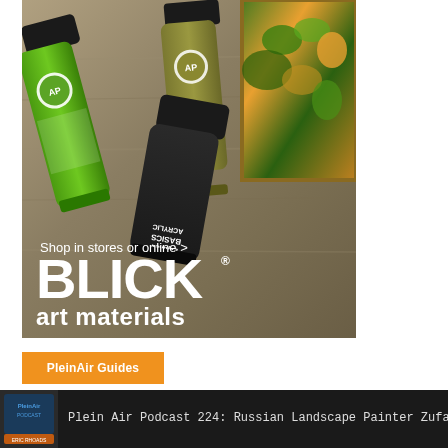[Figure (photo): Blick Art Materials advertisement showing paint tubes (green Liquitex Basics Acrylic and olive/dark tube) on a wood surface with a painting partially visible in upper right. Text reads 'Shop in stores or online > BLICK art materials' in white on wood-grain background.]
PleinAir Guides
[Figure (screenshot): Bottom podcast navigation bar with PleinAir Podcast logo thumbnail on the left and text 'Plein Air Podcast 224: Russian Landscape Painter Zufar Bikbo' on dark background.]